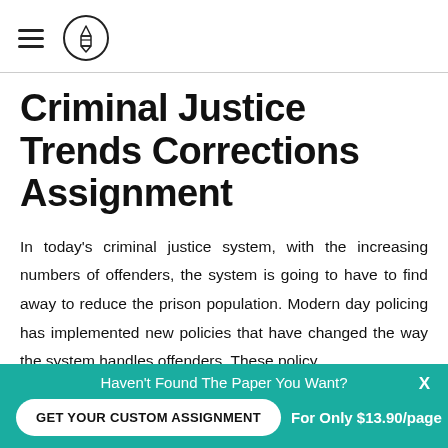[Figure (logo): Hamburger menu icon and circular pencil logo icon in the header]
Criminal Justice Trends Corrections Assignment
In today's criminal justice system, with the increasing numbers of offenders, the system is going to have to find away to reduce the prison population. Modern day policing has implemented new policies that have changed the way the system handles offenders. These policy
Haven't Found The Paper You Want? GET YOUR CUSTOM ASSIGNMENT For Only $13.90/page X